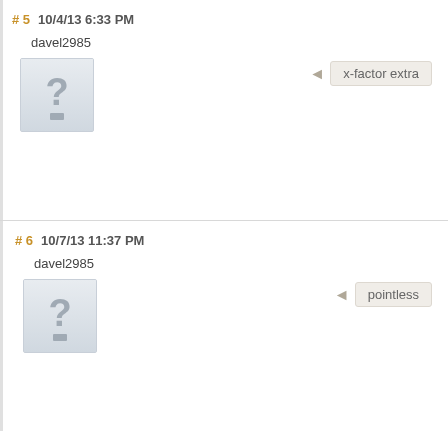# 5  10/4/13 6:33 PM
davel2985
[Figure (illustration): Default user avatar with grey question mark icon]
x-factor extra
# 6  10/7/13 11:37 PM
davel2985
[Figure (illustration): Default user avatar with grey question mark icon]
pointless